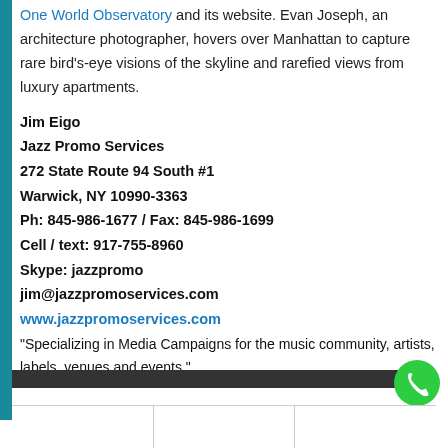One World Observatory and its website. Evan Joseph, an architecture photographer, hovers over Manhattan to capture rare bird's-eye visions of the skyline and rarefied views from luxury apartments.
Jim Eigo
Jazz Promo Services
272 State Route 94 South #1
Warwick, NY 10990-3363
Ph: 845-986-1677 / Fax: 845-986-1699
Cell / text: 917-755-8960
Skype: jazzpromo
jim@jazzpromoservices.com
www.jazzpromoservices.com
"Specializing in Media Campaigns for the music community, artists, labels, venues and events."